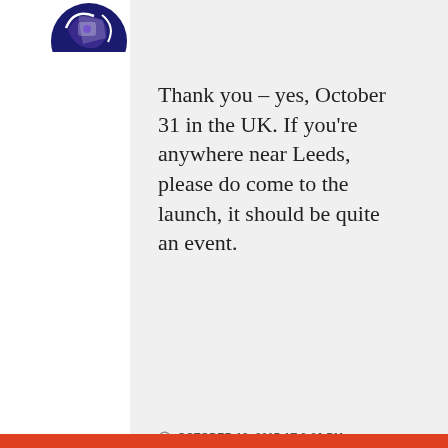[Figure (logo): Partial circular logo/avatar with blue and purple colors, cropped at top of page]
Thank you – yes, October 31 in the UK. If you’re anywhere near Leeds, please do come to the launch, it should be quite an event.
OCTOBER 12, 2017 AT 2:06 PM
REPLY
Privacy & Cookies: This site uses cookies. By continuing to use this website, you agree to their use.
To find out more, including how to control cookies, see here: Cookie Policy
Close and accept